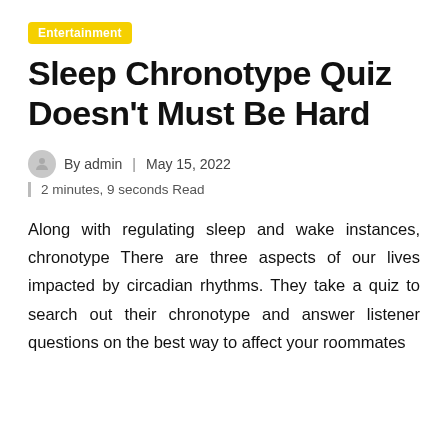Entertainment
Sleep Chronotype Quiz Doesn't Must Be Hard
By admin | May 15, 2022
2 minutes, 9 seconds Read
Along with regulating sleep and wake instances, chronotype There are three aspects of our lives impacted by circadian rhythms. They take a quiz to search out their chronotype and answer listener questions on the best way to affect your roommates